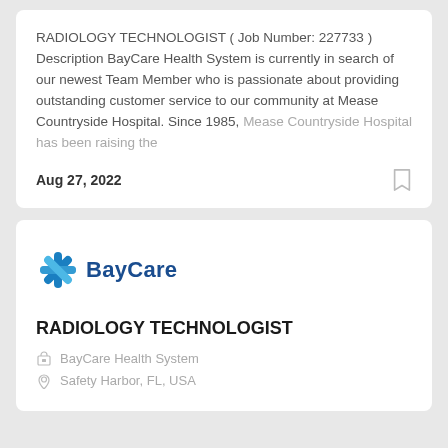RADIOLOGY TECHNOLOGIST ( Job Number: 227733 ) Description BayCare Health System is currently in search of our newest Team Member who is passionate about providing outstanding customer service to our community at Mease Countryside Hospital. Since 1985, Mease Countryside Hospital has been raising the
Aug 27, 2022
[Figure (logo): BayCare logo with blue snowflake/cross icon and BayCare text in dark blue]
RADIOLOGY TECHNOLOGIST
BayCare Health System
Safety Harbor, FL, USA